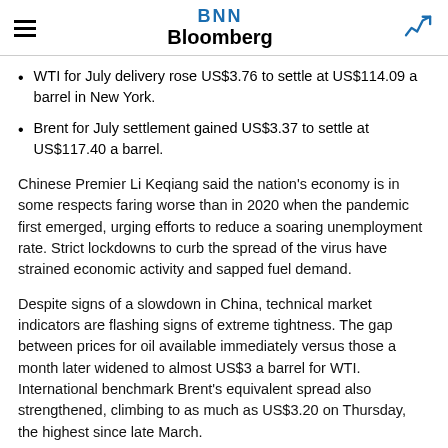BNN Bloomberg
WTI for July delivery rose US$3.76 to settle at US$114.09 a barrel in New York.
Brent for July settlement gained US$3.37 to settle at US$117.40 a barrel.
Chinese Premier Li Keqiang said the nation's economy is in some respects faring worse than in 2020 when the pandemic first emerged, urging efforts to reduce a soaring unemployment rate. Strict lockdowns to curb the spread of the virus have strained economic activity and sapped fuel demand.
Despite signs of a slowdown in China, technical market indicators are flashing signs of extreme tightness. The gap between prices for oil available immediately versus those a month later widened to almost US$3 a barrel for WTI. International benchmark Brent's equivalent spread also strengthened, climbing to as much as US$3.20 on Thursday, the highest since late March.